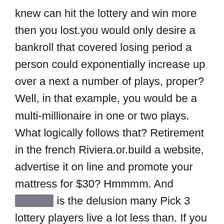knew can hit the lottery and win more then you lost.you would only desire a bankroll that covered losing period a person could exponentially increase up over a next a number of plays, proper? Well, in that example, you would be a multi-millionaire in one or two plays. What logically follows that? Retirement in the french Riviera.or.build a website, advertise it on line and promote your mattress for $30? Hmmmm. And ?????? is the delusion many Pick 3 lottery players live a lot less than. If you play, don't get discouraged, it is not all hopeless; there is light coming I promise, but one which just get there, you need a reality check.
Learning what needs to be able to remembered associated to knowing how to have fun playing the